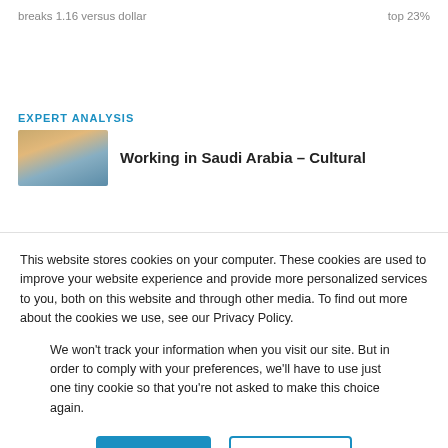breaks 1.16 versus dollar    top 23%
EXPERT ANALYSIS
[Figure (photo): Thumbnail image of cityscape, likely Saudi Arabia skyline at dusk]
Working in Saudi Arabia – Cultural
This website stores cookies on your computer. These cookies are used to improve your website experience and provide more personalized services to you, both on this website and through other media. To find out more about the cookies we use, see our Privacy Policy.
We won't track your information when you visit our site. But in order to comply with your preferences, we'll have to use just one tiny cookie so that you're not asked to make this choice again.
Accept   Decline